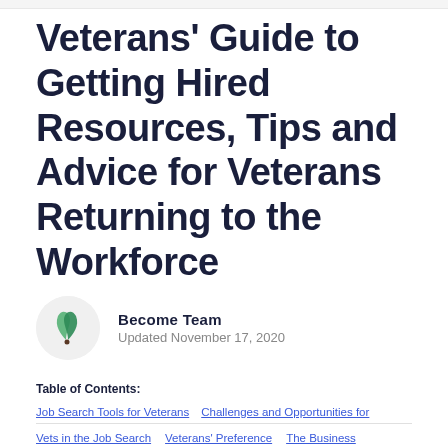Veterans' Guide to Getting Hired Resources, Tips and Advice for Veterans Returning to the Workforce
Become Team
Updated November 17, 2020
Table of Contents:
Job Search Tools for Veterans
Challenges and Opportunities for
Vets in the Job Search
Veterans' Preference
The Business